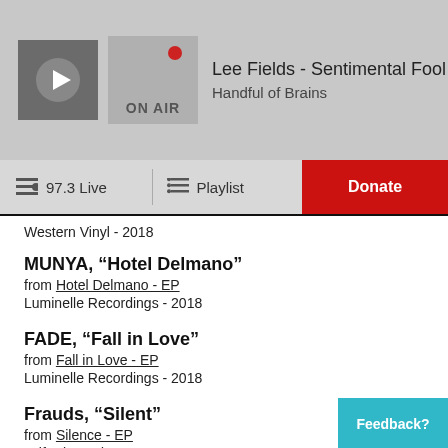Lee Fields - Sentimental Fool / Handful of Brains | ON AIR
Western Vinyl - 2018
MUNYA, “Hotel Delmano”
from Hotel Delmano - EP
Luminelle Recordings - 2018
FADE, “Fall in Love”
from Fall in Love - EP
Luminelle Recordings - 2018
Frauds, “Silent”
from Silence - EP
self-released - 2018
Empress Of, “Love for Me”
from Us